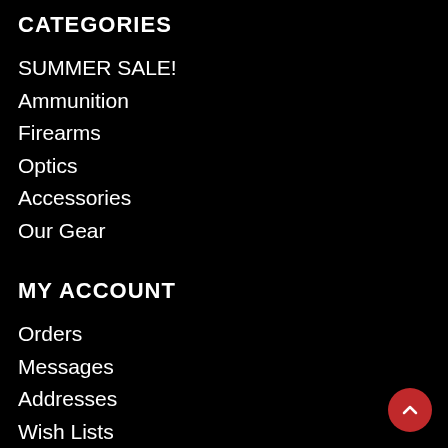CATEGORIES
SUMMER SALE!
Ammunition
Firearms
Optics
Accessories
Our Gear
MY ACCOUNT
Orders
Messages
Addresses
Wish Lists
Recently Viewed